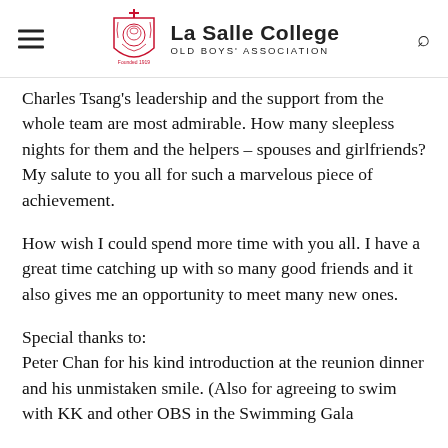La Salle College OLD BOYS' ASSOCIATION
Charles Tsang's leadership and the support from the whole team are most admirable. How many sleepless nights for them and the helpers – spouses and girlfriends? My salute to you all for such a marvelous piece of achievement.
How wish I could spend more time with you all. I have a great time catching up with so many good friends and it also gives me an opportunity to meet many new ones.
Special thanks to:
Peter Chan for his kind introduction at the reunion dinner and his unmistaken smile. (Also for agreeing to swim with KK and other OBS in the Swimming Gala